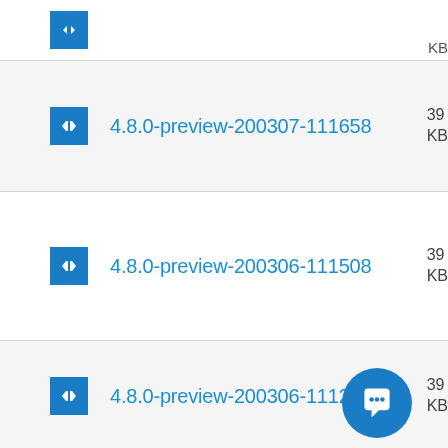4.8.0-preview-200307-111658
4.8.0-preview-200306-111508
4.8.0-preview-200306-111271